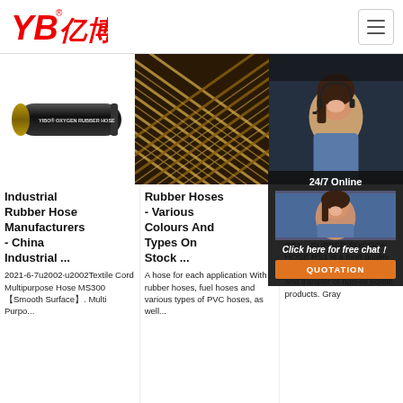YB亿博 logo and navigation header
[Figure (photo): Black rubber YIBO Oxygen Rubber Hose product photo on white background]
[Figure (photo): Close-up of braided rubber hose with brown/gold textile weave pattern]
[Figure (photo): 24/7 Online customer service representative with headset, dark background overlay with chat interface]
Industrial Rubber Hose Manufacturers - China Industrial ...
2021-6-7u2002·u2002Textile Cord Multipurpose Hose MS300 【Smooth Surface】. Multi Purpo...
Rubber Hoses - Various Colours And Types On Stock ...
A hose for each application With rubber hoses, fuel hoses and various types of PVC hoses, as well...
Ho... Ru... Of...
RS1... RUBBER SUCTION HOSE RS1 is a high quality food transfer hose for suction and transfer of non-oil edible products. Gray